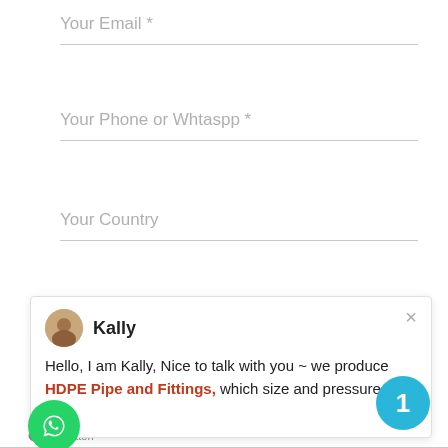Your Email *
Your Phone or Whtaspp *
Your Country
[Figure (screenshot): Chat popup from agent named Kally with avatar photo. Message reads: Hello, I am Kally, Nice to talk with you ~ we produce HDPE Pipe and Fittings, which size and pressure do you. Close button (×) in top-right corner.]
Such as:I'm looking for HDPE PIPE 280m 2000meter for water supply *
[Figure (infographic): Cyan/teal circular notification badge with number 1 in white]
[Figure (logo): Green circular WhatsApp icon button]
GetButton